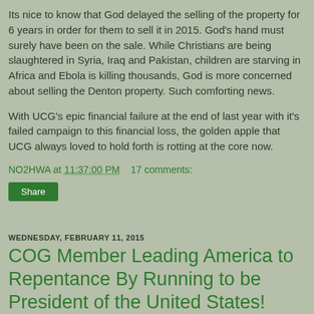Its nice to know that God delayed the selling of the property for 6 years in order for them to sell it in 2015. God's hand must surely have been on the sale. While Christians are being slaughtered in Syria, Iraq and Pakistan, children are starving in Africa and Ebola is killing thousands, God is more concerned about selling the Denton property. Such comforting news.
With UCG's epic financial failure at the end of last year with it's failed campaign to this financial loss, the golden apple that UCG always loved to hold forth is rotting at the core now.
NO2HWA at 11:37:00 PM    17 comments:
Share
WEDNESDAY, FEBRUARY 11, 2015
COG Member Leading America to Repentance By Running to be President of the United States! Woo